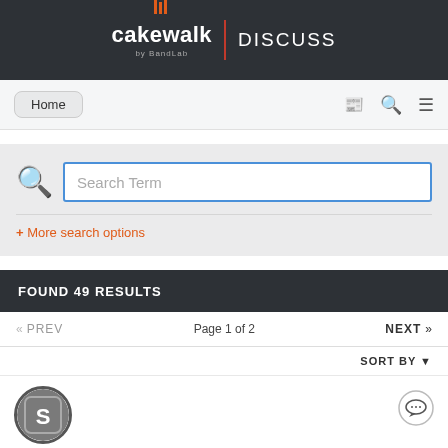cakewalk DISCUSS by BandLab
Home
Search Term
+ More search options
FOUND 49 RESULTS
« PREV   Page 1 of 2   NEXT »
SORT BY ▼
[Figure (other): User avatar circle icon with letter S inside, and a speech bubble/chat icon on the right]